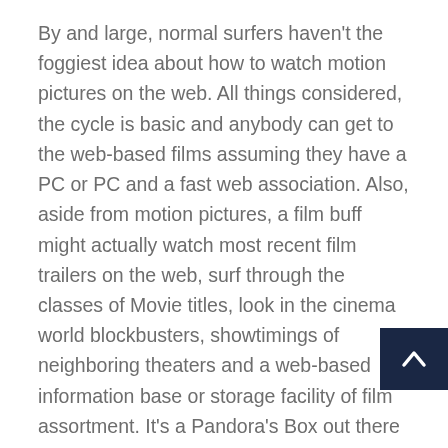By and large, normal surfers haven't the foggiest idea about how to watch motion pictures on the web. All things considered, the cycle is basic and anybody can get to the web-based films assuming they have a PC or PC and a fast web association. Also, aside from motion pictures, a film buff might actually watch most recent film trailers on the web, surf through the classes of Movie titles, look in the cinema world blockbusters, showtimings of neighboring theaters and a web-based information base or storage facility of film assortment. It's a Pandora's Box out there with online film entries, simply check in what it has available for you.
Web is the asset apparatus for all web-based film entries. Since web broadband, DSL, modem and so on have become easily recognized names; they have reticulated into our regular routines in general and of such advantages which you can harvest from it is